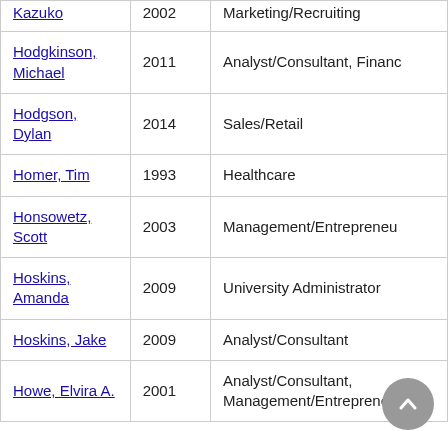| Name | Year | Field |
| --- | --- | --- |
| Kazuko | 2002 | Marketing/Recruiting |
| Hodgkinson, Michael | 2011 | Analyst/Consultant, Finance |
| Hodgson, Dylan | 2014 | Sales/Retail |
| Homer, Tim | 1993 | Healthcare |
| Honsowetz, Scott | 2003 | Management/Entrepreneureu |
| Hoskins, Amanda | 2009 | University Administrator |
| Hoskins, Jake | 2009 | Analyst/Consultant |
| Howe, Elvira A. | 2001 | Analyst/Consultant, Management/Entrepreneureu |